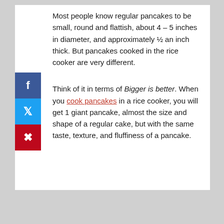Most people know regular pancakes to be small, round and flattish, about 4 – 5 inches in diameter, and approximately ½ an inch thick. But pancakes cooked in the rice cooker are very different.
Think of it in terms of Bigger is better. When you cook pancakes in a rice cooker, you will get 1 giant pancake, almost the size and shape of a regular cake, but with the same taste, texture, and fluffiness of a pancake.